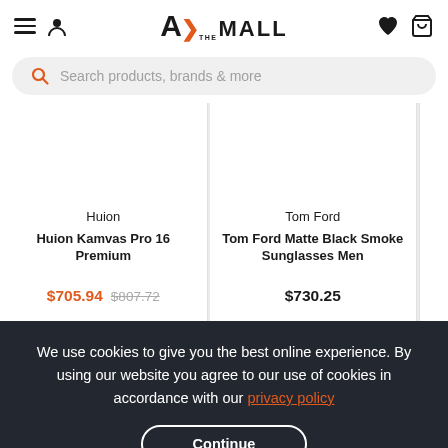A> THE MALL — navigation header with hamburger menu, user icon, logo, heart icon, cart icon
Search products, brands & more
Huion — Huion Kamvas Pro 16 Premium — $705.94  $807.72
Tom Ford — Tom Ford Matte Black Smoke Sunglasses Men — $730.25
We use cookies to give you the best online experience. By using our website you agree to our use of cookies in accordance with our privacy policy
Continue